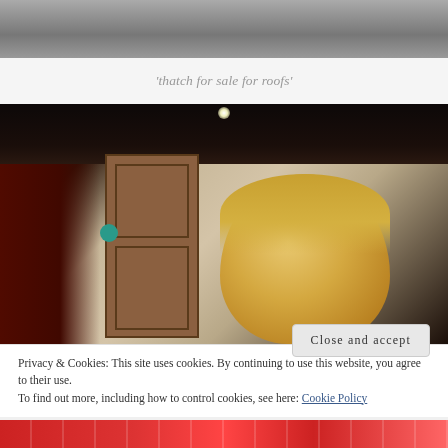[Figure (photo): Top portion of an outdoor photo, showing sky/road scene, cropped at top of page]
'thatch for sale for roofs'
[Figure (photo): Indoor photo of a young blonde child peeking up into the camera in a dark room with wooden door and furniture visible]
Privacy & Cookies: This site uses cookies. By continuing to use this website, you agree to their use.
To find out more, including how to control cookies, see here: Cookie Policy
[Figure (photo): Bottom strip of a red-toned photo, partially visible at bottom of page]